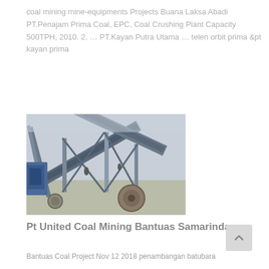coal mining mine-equipments Projects Buana Laksa Abadi PT.Penajam Prima Coal, EPC, Coal Crushing Plant Capacity 500TPH, 2010. 2. … PT.Kayan Putra Utama … telen orbit prima &pt kayan prima
[Figure (photo): Photo of industrial coal crushing / conveyor belt equipment at a mining site. Shows large steel conveyor structures crossing at angles, with machinery components including a large wheel/drum visible in the foreground.]
Pt United Coal Mining Bantuas Samarinda
Bantuas Coal Project Nov 12 2018 penambangan batubara